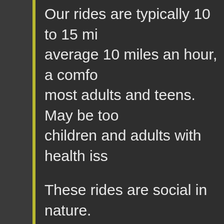Our rides are typically 10 to 15 mil average 10 miles an hour, a comfo most adults and teens. May be too children and adults with health iss
These rides are social in nature.
For longer, more aggressive grou to Hal Downing's group ride newsl hdowning@whww.com .
If you have a social ride you woul